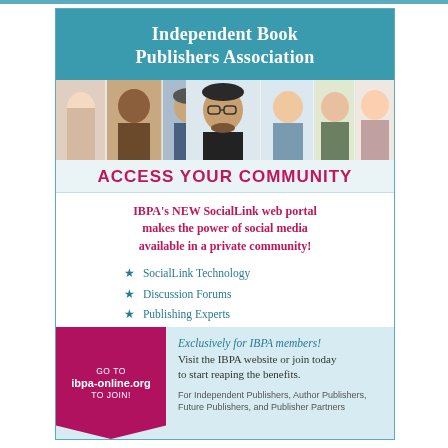Independent Book Publishers Association
[Figure (photo): Strip of portrait photos of diverse people]
ACCESS YOUR COMMUNITY
IBPA's NEW SocialLink web portal makes the power of social media available in a private community!
SocialLink Technology
Discussion Forums
Publishing Experts
Member Benefits
GO TO ibpa-online.org TO JOIN!
Exclusively for IBPA members! Visit the IBPA website or join today to start reaping the benefits.
For Independent Publishers, Author Publishers, Future Publishers, and Publisher Partners